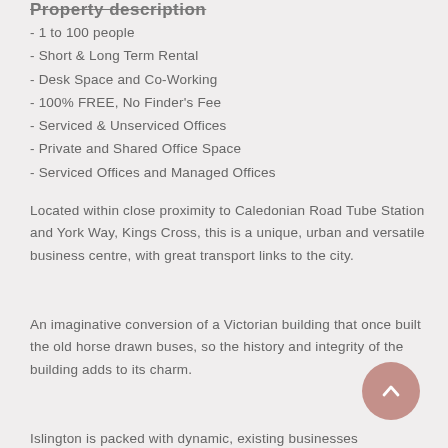Property description
- 1 to 100 people
- Short & Long Term Rental
- Desk Space and Co-Working
- 100% FREE, No Finder's Fee
- Serviced & Unserviced Offices
- Private and Shared Office Space
- Serviced Offices and Managed Offices
Located within close proximity to Caledonian Road Tube Station and York Way, Kings Cross, this is a unique, urban and versatile business centre, with great transport links to the city.
An imaginative conversion of a Victorian building that once built the old horse drawn buses, so the history and integrity of the building adds to its charm.
Islington is packed with dynamic, existing businesses